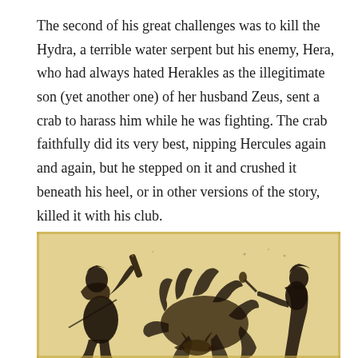The second of his great challenges was to kill the Hydra, a terrible water serpent but his enemy, Hera, who had always hated Herakles as the illegitimate son (yet another one) of her husband Zeus, sent a crab to harass him while he was fighting. The crab faithfully did its very best, nipping Hercules again and again, but he stepped on it and crushed it beneath his heel, or in other versions of the story, killed it with his club.
[Figure (photo): Ancient Greek black-figure vase painting depicting Hercules fighting the Hydra, a many-headed serpent, with a figure on the right (possibly Athena or Iolaus) assisting. The scene is painted in black on a yellowish-cream background typical of ancient pottery.]